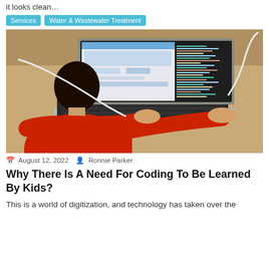it looks clean…
Services
Water & Wastewater Treatment
[Figure (photo): A child in a red sweatshirt sitting at a wooden desk, viewed from behind, typing on a silver laptop. The laptop screen shows a web browser and a code editor with dark background.]
August 12, 2022   Ronnie Parker
Why There Is A Need For Coding To Be Learned By Kids?
This is a world of digitization, and technology has taken over the